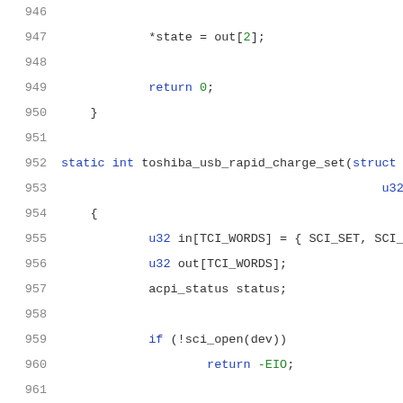Code listing lines 946-967, C source code for toshiba_usb_rapid_charge_set function